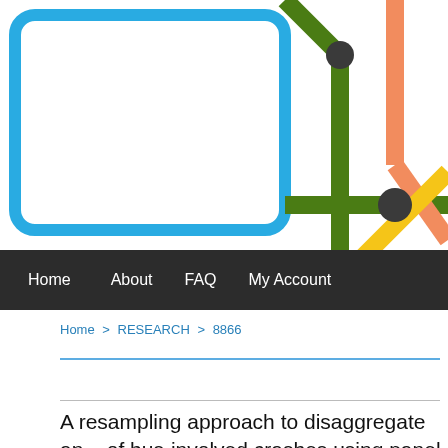[Figure (illustration): Transit/subway map diagram with colored lines (blue, green, orange, yellow) intersecting at nodes on a white background, partial view cropped]
Home   About   FAQ   My Account
Home > RESEARCH > 8866
A resampling approach to disaggregate an... of bus-involved crashes using panel data w... excessive zeros